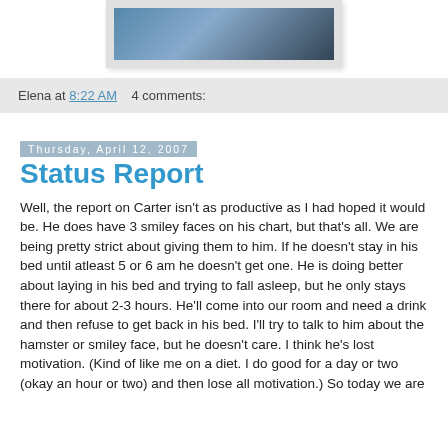[Figure (photo): Partial photo visible at top of page, appears to show people, cropped]
Elena at 8:22 AM    4 comments:
Thursday, April 12, 2007
Status Report
Well, the report on Carter isn't as productive as I had hoped it would be. He does have 3 smiley faces on his chart, but that's all. We are being pretty strict about giving them to him. If he doesn't stay in his bed until atleast 5 or 6 am he doesn't get one. He is doing better about laying in his bed and trying to fall asleep, but he only stays there for about 2-3 hours. He'll come into our room and need a drink and then refuse to get back in his bed. I'll try to talk to him about the hamster or smiley face, but he doesn't care. I think he's lost motivation. (Kind of like me on a diet. I do good for a day or two (okay an hour or two) and then lose all motivation.) So today we are